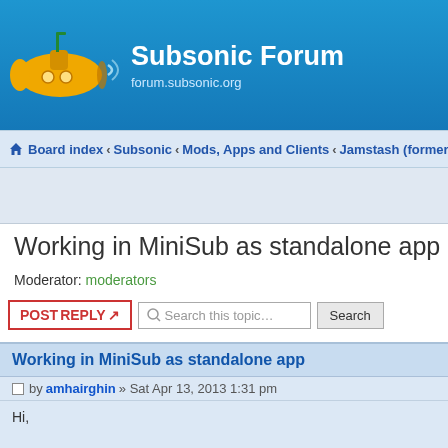Subsonic Forum | forum.subsonic.org
Board index < Subsonic < Mods, Apps and Clients < Jamstash (formerly MiniS…
Working in MiniSub as standalone app
Moderator: moderators
POSTREPLY | Search this topic… | Search
Working in MiniSub as standalone app
Post by amhairghin » Sat Apr 13, 2013 1:31 pm
Hi,

I'm working in MiniSub as standalone app. Is very simply, a window that loads WebKit and load MiniSub inside.

There is any problem with this? Of course the code will be GPL"ed". I think today I'll a very alpha version 😊